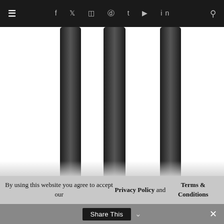≡  f  t  ☷  ⊕  t  ▶  in  🔍
[Figure (photo): Three dark vertical cylindrical tubes/rods on a white background, partially cropped at the bottom]
The HD 660 S features a lower 150 Ohm impedance and a new transducer design developed in-house. These changes promise to affect the control of the diaphragm movements which
By using this website you agree to accept our Privacy Policy and Terms & Conditions
Share This  ×